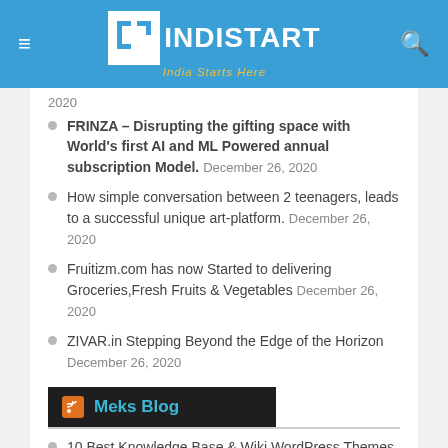INDISTART – India Starts Here
2020
FRINZA – Disrupting the gifting space with World's first AI and ML Powered annual subscription Model. December 26, 2020
How simple conversation between 2 teenagers, leads to a successful unique art-platform. December 26, 2020
Fruitizm.com has now Started to delivering Groceries,Fresh Fruits & Vegetables December 26, 2020
ZIVAR.in Stepping Beyond the Edge of the Horizon December 26, 2020
Meks Blog
10 Best Knowledge Base & Wiki WordPress Themes 2021